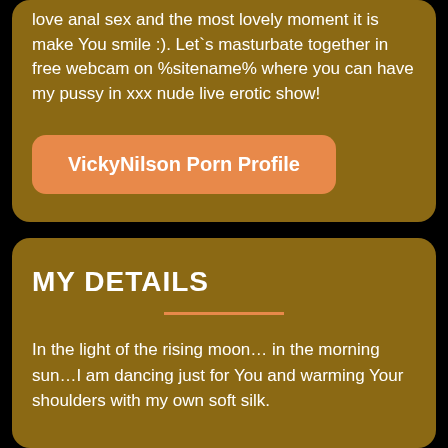love anal sex and the most lovely moment it is make You smile :). Let`s masturbate together in free webcam on %sitename% where you can have my pussy in xxx nude live erotic show!
VickyNilson Porn Profile
MY DETAILS
In the light of the rising moon… in the morning sun…I am dancing just for You and warming Your shoulders with my own soft silk.